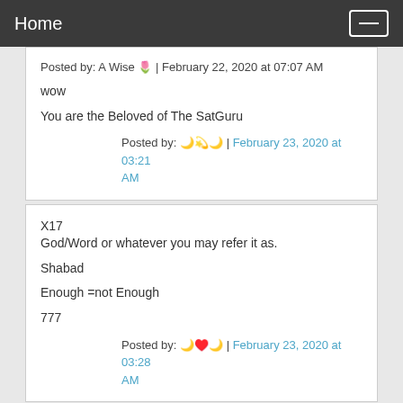Home
Posted by: A Wise 🌷 | February 22, 2020 at 07:07 AM
wow
You are the Beloved of The SatGuru
Posted by: 🌙💫🌙 | February 23, 2020 at 03:21 AM
X17
God/Word or whatever you may refer it as.

Shabad

Enough =not Enough

777
Posted by: 🌙♥️🌙 | February 23, 2020 at 03:28 AM